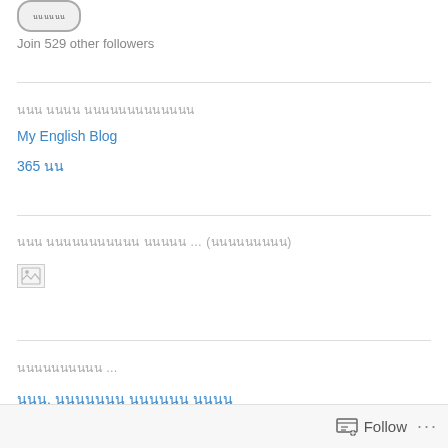[Figure (illustration): Button-shaped UI element with text, rounded rectangle outline]
Join 529 other followers
นนน นนนน นนนนนนนนนนนนน
My English Blog
365 นน
นนน นนนนนนนนนนน นนนนน … (นนนนนนนนน)
[Figure (photo): Broken/missing image placeholder icon]
นนนนนนนนนน …
นนน. นนนนนนน นนนนนน นนนน
Follow ...